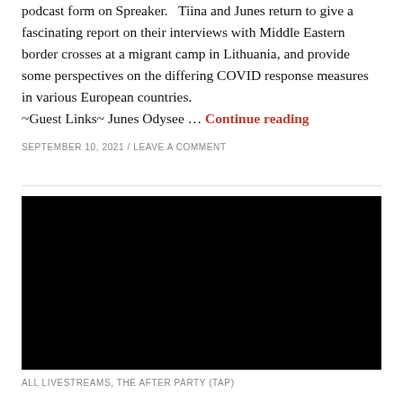podcast form on Spreaker.   Tiina and Junes return to give a fascinating report on their interviews with Middle Eastern border crosses at a migrant camp in Lithuania, and provide some perspectives on the differing COVID response measures in various European countries. ~Guest Links~ Junes Odysee … Continue reading
SEPTEMBER 10, 2021 / LEAVE A COMMENT
[Figure (other): Black video embed rectangle]
ALL LIVESTREAMS, THE AFTER PARTY (TAP)